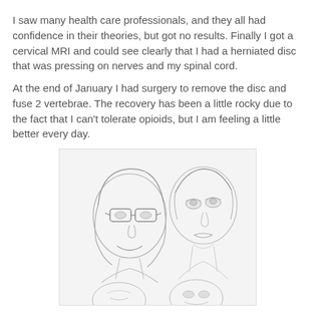I saw many health care professionals, and they all had confidence in their theories, but got no results. Finally I got a cervical MRI and could see clearly that I had a herniated disc that was pressing on nerves and my spinal cord.
At the end of January I had surgery to remove the disc and fuse 2 vertebrae. The recovery has been a little rocky due to the fact that I can't tolerate opioids, but I am feeling a little better every day.
[Figure (illustration): A pencil sketch illustration showing multiple people's faces. In the upper portion, two faces are visible: on the left, a person with glasses and medium-length hair smiling; on the right, a young man looking upward. In the lower portion, partial faces of additional people are visible. The image has a light, sketch-like quality.]